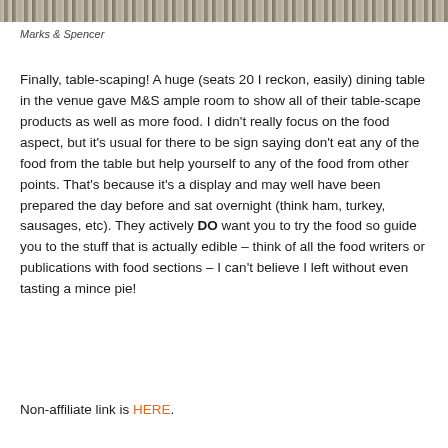[Figure (photo): Partial image of a textured fabric or table setting at top of page]
Marks & Spencer
Finally, table-scaping! A huge (seats 20 I reckon, easily) dining table in the venue gave M&S ample room to show all of their table-scape products as well as more food. I didn't really focus on the food aspect, but it's usual for there to be sign saying don't eat any of the food from the table but help yourself to any of the food from other points. That's because it's a display and may well have been prepared the day before and sat overnight (think ham, turkey, sausages, etc). They actively DO want you to try the food so guide you to the stuff that is actually edible – think of all the food writers or publications with food sections – I can't believe I left without even tasting a mince pie!
Non-affiliate link is HERE.